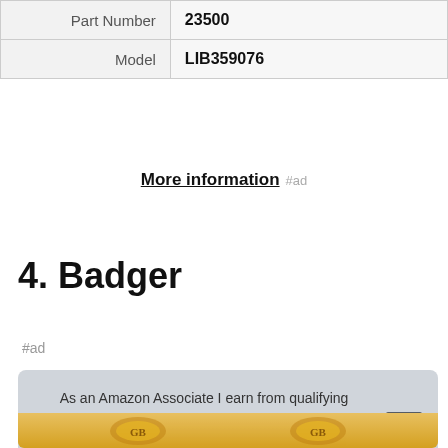| Part Number | 23500 |
| Model | LIB359076 |
More information #ad
4. Badger
#ad
As an Amazon Associate I earn from qualifying purchases. This website uses the only necessary cookies to ensure you get the best experience on our website. More information